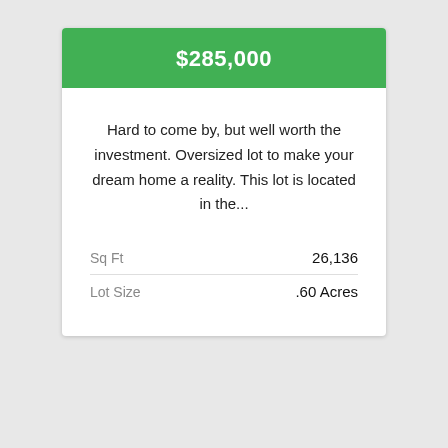$285,000
Hard to come by, but well worth the investment. Oversized lot to make your dream home a reality. This lot is located in the...
|  |  |
| --- | --- |
| Sq Ft | 26,136 |
| Lot Size | .60 Acres |